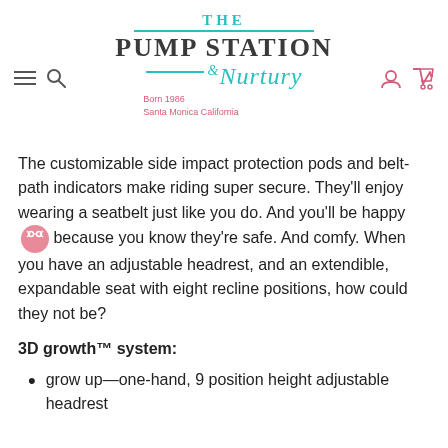THE PUMP STATION & Nurtury — Born 1986 Santa Monica California
The customizable side impact protection pods and belt-path indicators make riding super secure. They'll enjoy wearing a seatbelt just like you do. And you'll be happy because you know they're safe. And comfy. When you have an adjustable headrest, and an extendible, expandable seat with eight recline positions, how could they not be?
3D growth™ system:
grow up—one-hand, 9 position height adjustable headrest